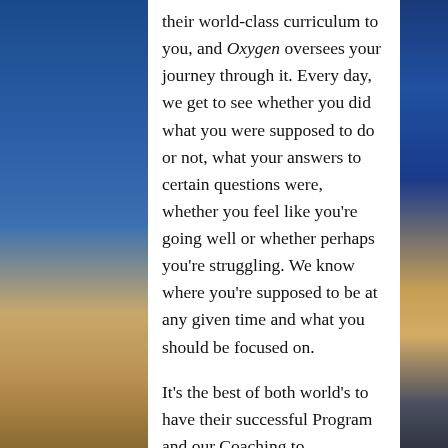their world-class curriculum to you, and Oxygen oversees your journey through it. Every day, we get to see whether you did what you were supposed to do or not, what your answers to certain questions were, whether you feel like you're going well or whether perhaps you're struggling. We know where you're supposed to be at any given time and what you should be focused on.
It's the best of both world's to have their successful Program and our Coaching to